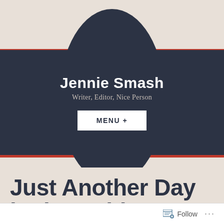Jennie Smash
Writer, Editor, Nice Person
MENU +
Just Another Day in the Hubley Vacation
Follow ...